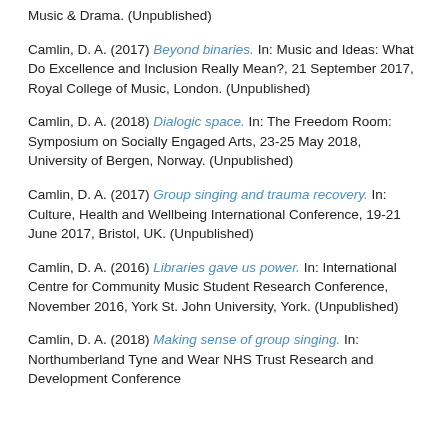Music & Drama. (Unpublished)
Camlin, D. A. (2017) Beyond binaries. In: Music and Ideas: What Do Excellence and Inclusion Really Mean?, 21 September 2017, Royal College of Music, London. (Unpublished)
Camlin, D. A. (2018) Dialogic space. In: The Freedom Room: Symposium on Socially Engaged Arts, 23-25 May 2018, University of Bergen, Norway. (Unpublished)
Camlin, D. A. (2017) Group singing and trauma recovery. In: Culture, Health and Wellbeing International Conference, 19-21 June 2017, Bristol, UK. (Unpublished)
Camlin, D. A. (2016) Libraries gave us power. In: International Centre for Community Music Student Research Conference, November 2016, York St. John University, York. (Unpublished)
Camlin, D. A. (2018) Making sense of group singing. In: Northumberland Tyne and Wear NHS Trust Research and Development Conference